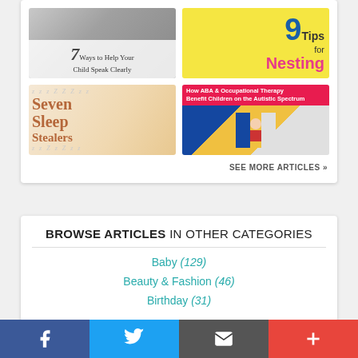[Figure (screenshot): Grid of 4 article thumbnails: '7 Ways to Help Your Child Speak Clearly', '9 Tips for Nesting', 'Seven Sleep Stealers', 'How ABA & Occupational Therapy Benefit Children on the Autistic Spectrum']
SEE MORE ARTICLES »
BROWSE ARTICLES IN OTHER CATEGORIES
Baby (129)
Beauty & Fashion (46)
Birthday (31)